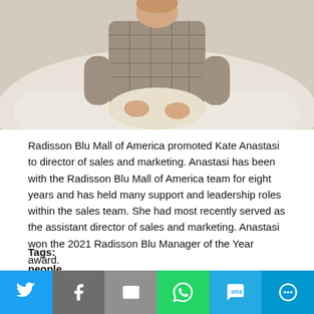[Figure (photo): A woman in a plaid blazer and cream-colored pants sitting on a white couch]
Radisson Blu Mall of America promoted Kate Anastasi to director of sales and marketing. Anastasi has been with the Radisson Blu Mall of America team for eight years and has held many support and leadership roles within the sales team. She had most recently served as the assistant director of sales and marketing. Anastasi won the 2021 Radisson Blu Manager of the Year award.
Tags:
people
radisson blu
Minnesota Slides
slides
bloomington
[Figure (infographic): Social sharing bar with Twitter, Facebook, Email, WhatsApp, SMS, and More buttons]